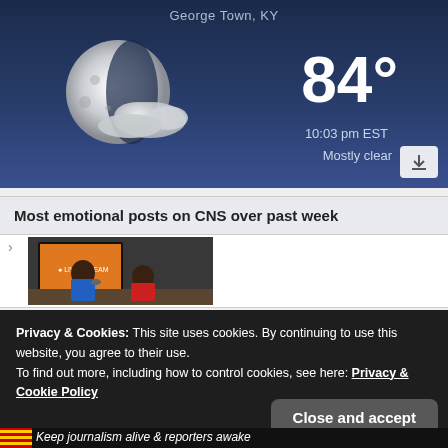[Figure (screenshot): Weather widget showing night sky with moon and clouds. Location: George Town, KY. Temperature: 84°. Time: 10:03 pm EST. Condition: Mostly clear.]
Most emotional posts on CNS over past week
[Figure (photo): Two men sitting at a table in what appears to be a radio or podcast studio. One wearing a blue shirt, another in red. A TV screen visible in the background.]
Privacy & Cookies: This site uses cookies. By continuing to use this website, you agree to their use.
To find out more, including how to control cookies, see here: Privacy & Cookie Policy
Close and accept
Keep journalism alive & reporters awake